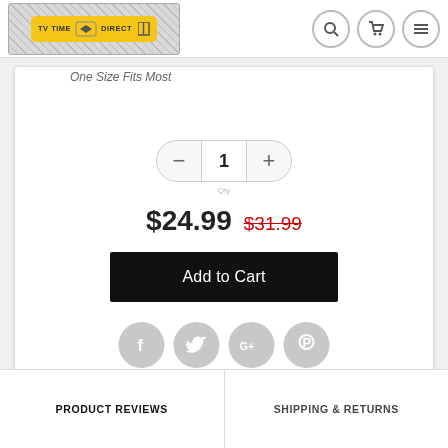TV TIME DIRECT — navigation header with logo, search, cart, and menu icons
One Size Fits Most
1 (quantity selector)
$24.99  $31.99
Add to Cart
[Figure (infographic): Social sharing icons: Facebook, Twitter, Google+, Pinterest]
PRODUCT REVIEWS
SHIPPING & RETURNS